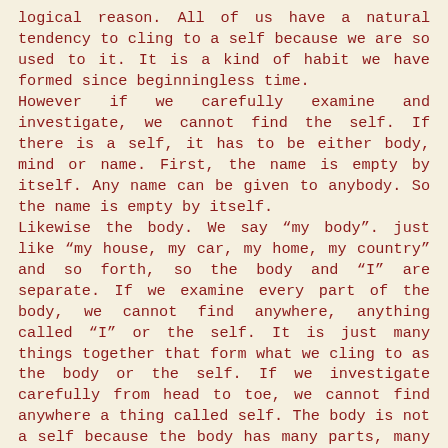logical reason. All of us have a natural tendency to cling to a self because we are so used to it. It is a kind of habit we have formed since beginningless time. However if we carefully examine and investigate, we cannot find the self. If there is a self, it has to be either body, mind or name. First, the name is empty by itself. Any name can be given to anybody. So the name is empty by itself. Likewise the body. We say “my body”. just like “my house, my car, my home, my country” and so forth, so the body and “I” are separate. If we examine every part of the body, we cannot find anywhere, anything called “I” or the self. It is just many things together that form what we cling to as the body or the self. If we investigate carefully from head to toe, we cannot find anywhere a thing called self. The body is not a self because the body has many parts, many different parts. People can still remain alive without certain parts of the body, so the body is not the self. Likewise the mind. We think that the mind may be the self.